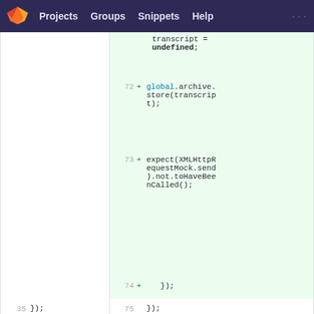GitLab navigation bar with Projects, Groups, Snippets, Help
[Figure (screenshot): Code diff view showing lines 72-75 of a JavaScript test file, with new lines added on the right showing global.archive.store(transcript) and expect(XMLHttpRequestMock.send).not.toHaveBeenCalled()]
config.json
[Figure (screenshot): Code diff header for config.json showing @@ -30,7 +30,7 @@ hunk with line 30 showing https://cdnjs. strings in red]